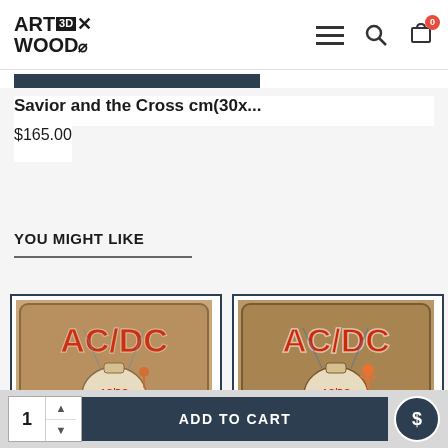ART3D WOOD - navigation header with menu, search, and cart icons
Savior and the Cross cm(30x...
$165.00
YOU MIGHT LIKE
[Figure (photo): AC/DC Hells Bells 3D wood art piece in a dark frame, showing the album artwork with a bell, the AC/DC logo in red lettering, and 'Hells Bells' text, displayed on a blue and white checkered surface - first variant]
[Figure (photo): AC/DC Hells Bells 3D wood art piece in a dark frame, showing the album artwork with a bell, the AC/DC logo in red lettering, and 'Hells Bells' text - second variant with more vibrant coloring]